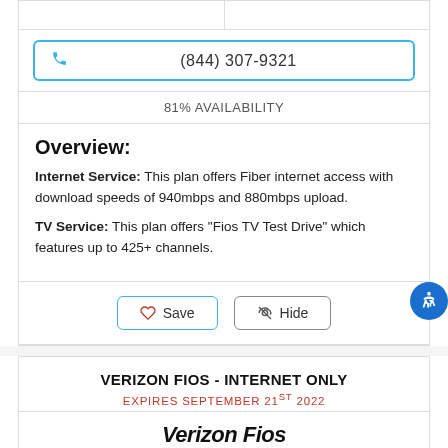(844) 307-9321
81% AVAILABILITY
Overview:
Internet Service: This plan offers Fiber internet access with download speeds of 940mbps and 880mbps upload.
TV Service: This plan offers "Fios TV Test Drive" which features up to 425+ channels.
Save
Hide
VERIZON FIOS - INTERNET ONLY
EXPIRES SEPTEMBER 21ST 2022
Verizon Fios